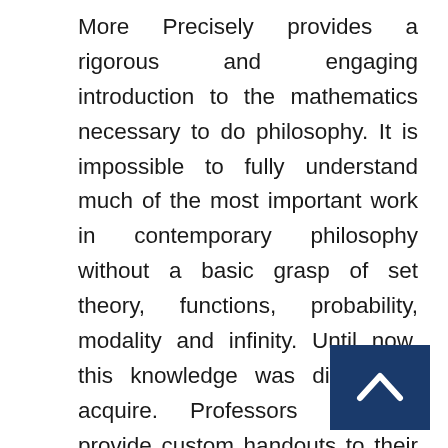More Precisely provides a rigorous and engaging introduction to the mathematics necessary to do philosophy. It is impossible to fully understand much of the most important work in contemporary philosophy without a basic grasp of set theory, functions, probability, modality and infinity. Until now, this knowledge was difficult to acquire. Professors had to provide custom handouts to their classes, while students struggled through math texts searching for insight. More Precisely fills this key gap. Eric Steinhart provides lucid explanations of the basic mathematical concepts and sets out most commonly used notational conventions. Furthermore, it demonstrates how mathematics applies to
[Figure (other): Dark blue navigation button with upward-pointing chevron/caret arrow in white, positioned in bottom-right corner]